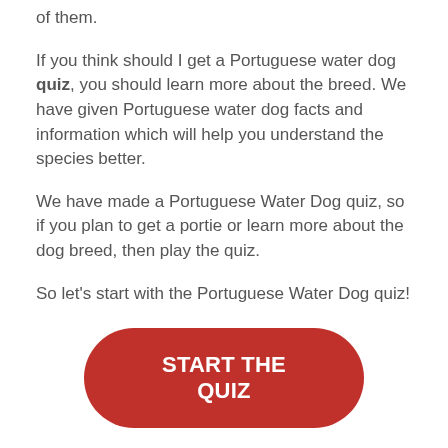of them.
If you think should I get a Portuguese water dog quiz, you should learn more about the breed. We have given Portuguese water dog facts and information which will help you understand the species better.
We have made a Portuguese Water Dog quiz, so if you plan to get a portie or learn more about the dog breed, then play the quiz.
So let's start with the Portuguese Water Dog quiz!
[Figure (other): Red rounded rectangle button with white bold text reading START THE QUIZ]
Tags: dog quiz, dog trivia, dogs quiz, is a portuguese